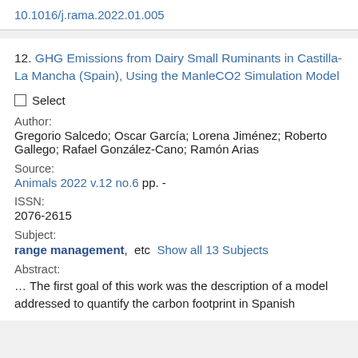10.1016/j.rama.2022.01.005
12. GHG Emissions from Dairy Small Ruminants in Castilla-La Mancha (Spain), Using the ManleCO2 Simulation Model
☐ Select
Author:
Gregorio Salcedo; Oscar García; Lorena Jiménez; Roberto Gallego; Rafael González-Cano; Ramón Arias
Source:
Animals 2022 v.12 no.6 pp. -
ISSN:
2076-2615
Subject:
range management,  etc  Show all 13 Subjects
Abstract:
… The first goal of this work was the description of a model addressed to quantify the carbon footprint in Spanish